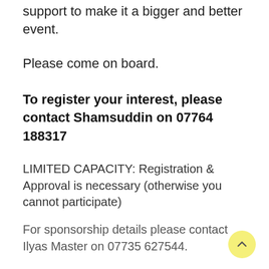support to make it a bigger and better event.
Please come on board.
To register your interest, please contact Shamsuddin on 07764 188317
LIMITED CAPACITY: Registration & Approval is necessary (otherwise you cannot participate)
For sponsorship details please contact Ilyas Master on 07735 627544.